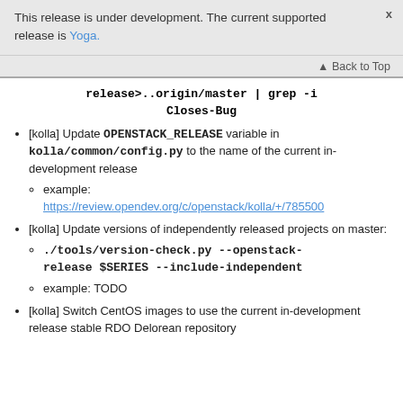This release is under development. The current supported release is Yoga.
Back to Top
release>..origin/master | grep -i Closes-Bug
[kolla] Update OPENSTACK_RELEASE variable in kolla/common/config.py to the name of the current in-development release
example: https://review.opendev.org/c/openstack/kolla/+/785500
[kolla] Update versions of independently released projects on master:
./tools/version-check.py --openstack-release $SERIES --include-independent
example: TODO
[kolla] Switch CentOS images to use the current in-development release stable RDO Delorean repository